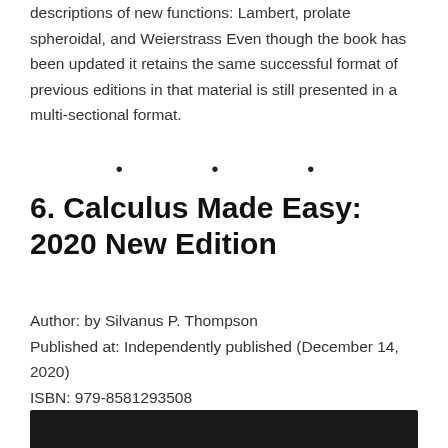descriptions of new functions: Lambert, prolate spheroidal, and Weierstrass Even though the book has been updated it retains the same successful format of previous editions in that material is still presented in a multi-sectional format.
• • •
6. Calculus Made Easy: 2020 New Edition
Author: by Silvanus P. Thompson
Published at: Independently published (December 14, 2020)
ISBN: 979-8581293508
[Figure (other): Dark bar at the bottom of the page]